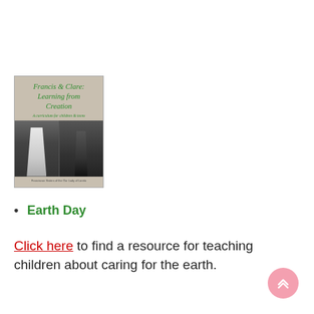[Figure (illustration): Book cover for 'Francis & Clare: Learning from Creation — A curriculum for children & teens' with green italic title text on a beige background and a black-and-white photograph of two robed figures]
Earth Day
Click here to find a resource for teaching children about caring for the earth.